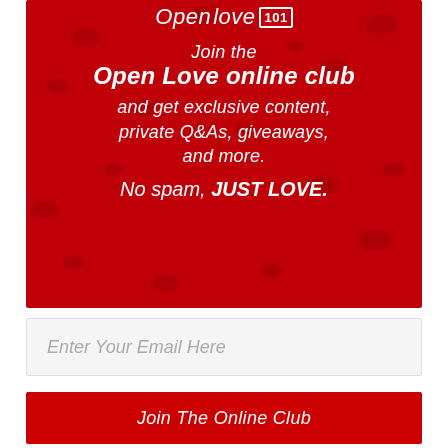[Figure (illustration): Red banner advertisement for Open Love 101 online club. Dark red background with rose petal texture. White italic text reads: 'Join the Open Love online club and get exclusive content, private Q&As, giveaways, and more. No spam, JUST LOVE.' Logo 'OpenLove 101' at top in white italic text with '101' in a outlined box.]
Enter Your Email Here
Join The Online Club